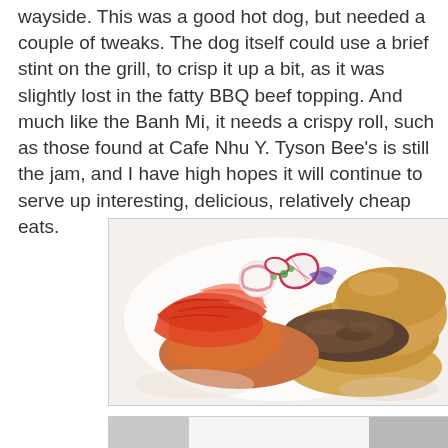wayside. This was a good hot dog, but needed a couple of tweaks. The dog itself could use a brief stint on the grill, to crisp it up a bit, as it was slightly lost in the fatty BBQ beef topping. And much like the Banh Mi, it needs a crispy roll, such as those found at Cafe Nhu Y. Tyson Bee's is still the jam, and I have high hopes it will continue to serve up interesting, delicious, relatively cheap eats.
[Figure (photo): A food photo showing a hot dog or sandwich in a bun topped with kimchi and other toppings including radish slices, served on a white plate.]
[Figure (photo): Partially visible bottom photo, cropped at the page edge.]